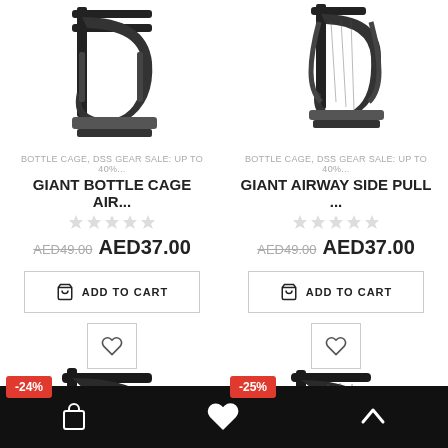[Figure (photo): Giant Bottle Cage Air product photo, black bottle cage on white background]
BOTTLE CAGE, DSS GEAR SALE: UP TO 40%...
GIANT BOTTLE CAGE AIR...
AED49.00  AED37.00
ADD TO CART
[Figure (photo): Giant Airway Side Pull product photo, black bottle cage on white background]
BOTTLE CAGE, DSS GEAR SALE: UP TO 40%...
GIANT AIRWAY SIDE PULL ...
AED49.00  AED37.00
ADD TO CART
[Figure (photo): Bottle cage product photo with -24% discount badge]
[Figure (photo): Giant bottle cage product photo with -25% discount badge]